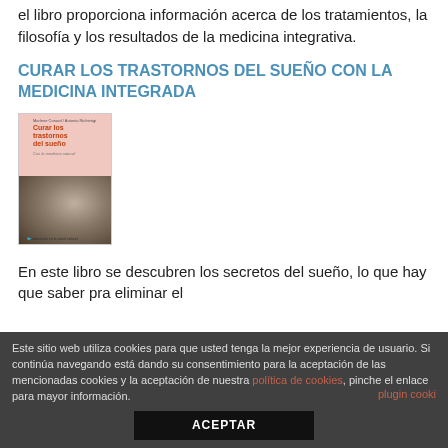el libro proporciona información acerca de los tratamientos, la filosofía y los resultados de la medicina integrativa.
CURAR LOS TRASTORNOS DEL SUEÑO CON LA MEDICINA INTEGRADA
[Figure (photo): Book cover of 'Curar los trastornos del sueño con la medicina natural' showing title text and a photo of a sleeping person.]
En este libro se descubren los secretos del sueño, lo que hay que saber pra eliminar el
Este sitio web utiliza cookies para que usted tenga la mejor experiencia de usuario. Si continúa navegando está dando su consentimiento para la aceptación de las mencionadas cookies y la aceptación de nuestra política de cookies, pinche el enlace para mayor información.